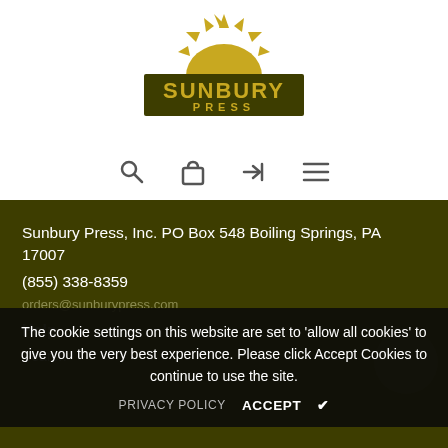[Figure (logo): Sunbury Press logo: golden sun rising behind dark olive/brown rectangle with 'SUNBURY' in large bold text and 'PRESS' below in smaller caps]
[Figure (other): Navigation bar with search (magnifying glass), cart (bag), login (arrow), and hamburger menu icons]
Sunbury Press, Inc. PO Box 548 Boiling Springs, PA 17007
(855) 338-8359
orders@sunburypress.com
The cookie settings on this website are set to 'allow all cookies' to give you the very best experience. Please click Accept Cookies to continue to use the site.
PRIVACY POLICY   ACCEPT ✔
Help
Search